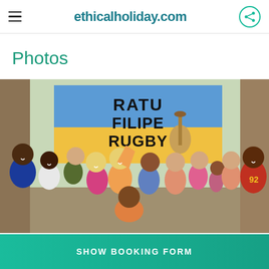ethicalholiday.com
Photos
[Figure (photo): Group photo of volunteers and local community members posing in front of a blue and yellow banner reading 'RATU FILIPE RUGBY'. The group includes men and women of diverse backgrounds, smiling and posing together indoors.]
SHOW BOOKING FORM